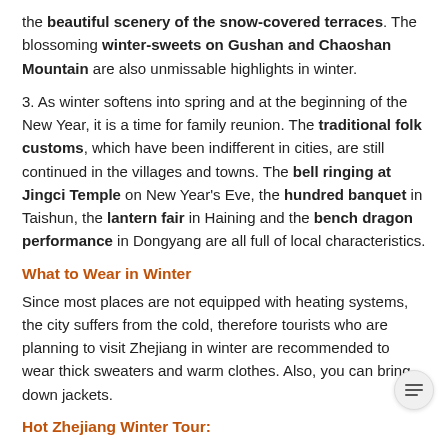the beautiful scenery of the snow-covered terraces. The blossoming winter-sweets on Gushan and Chaoshan Mountain are also unmissable highlights in winter.
3. As winter softens into spring and at the beginning of the New Year, it is a time for family reunion. The traditional folk customs, which have been indifferent in cities, are still continued in the villages and towns. The bell ringing at Jingci Temple on New Year's Eve, the hundred banquet in Taishun, the lantern fair in Haining and the bench dragon performance in Dongyang are all full of local characteristics.
What to Wear in Winter
Since most places are not equipped with heating systems, the city suffers from the cold, therefore tourists who are planning to visit Zhejiang in winter are recommended to wear thick sweaters and warm clothes. Also, you can bring down jackets.
Hot Zhejiang Winter Tour:
2 Days Classic Ningbo Tour
6 Days Zhejiang Highlights Tour from Hangzhou